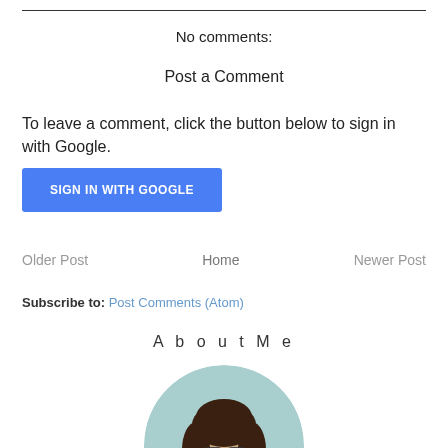No comments:
Post a Comment
To leave a comment, click the button below to sign in with Google.
[Figure (other): Blue button labeled SIGN IN WITH GOOGLE]
Older Post   Home   Newer Post
Subscribe to: Post Comments (Atom)
A b o u t  M e
[Figure (photo): Circular profile photo of a woman with dark hair and sunglasses]